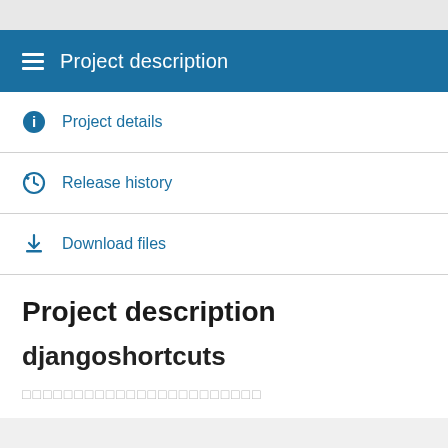Project description
Project details
Release history
Download files
Project description
djangoshortcuts
□□□□□□□□□□□□□□□□□□□□□□□